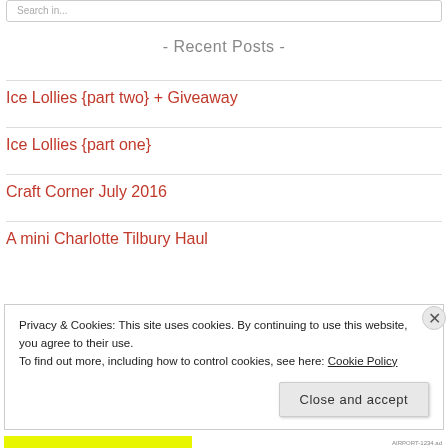Search in...
- Recent Posts -
Ice Lollies {part two} + Giveaway
Ice Lollies {part one}
Craft Corner July 2016
A mini Charlotte Tilbury Haul
Privacy & Cookies: This site uses cookies. By continuing to use this website, you agree to their use. To find out more, including how to control cookies, see here: Cookie Policy
Close and accept